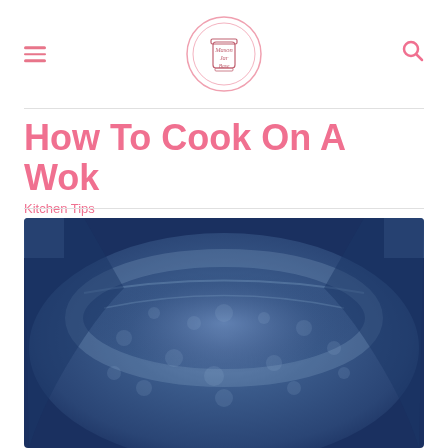Mason Jar Base — navigation header with logo
How To Cook On A Wok
Kitchen Tips
[Figure (photo): Close-up top-down view of the inside of a dark blue/steel wok with hammered texture surface and curved sides]